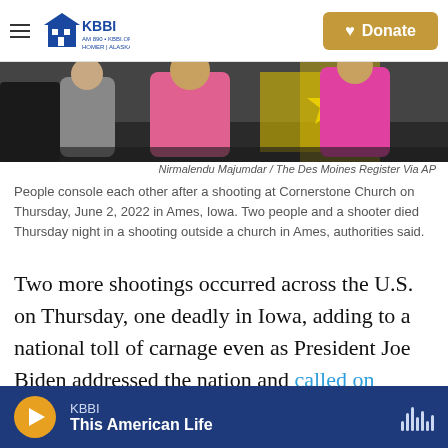KBBI AM 890 • KBBI.ORG Homer, Alaska — Donate
[Figure (photo): Photo of people consoling each other after a shooting at Cornerstone Church, showing figures in pink and gray shirts near a vehicle with a yellow star emblem]
Nirmalendu Majumdar / The Des Moines Register Via AP
People console each other after a shooting at Cornerstone Church on Thursday, June 2, 2022 in Ames, Iowa. Two people and a shooter died Thursday night in a shooting outside a church in Ames, authorities said.
Two more shootings occurred across the U.S. on Thursday, one deadly in Iowa, adding to a national toll of carnage even as President Joe Biden addressed the nation and called on Congress to take action to curb firearm violence across the country.
KBBI — This American Life